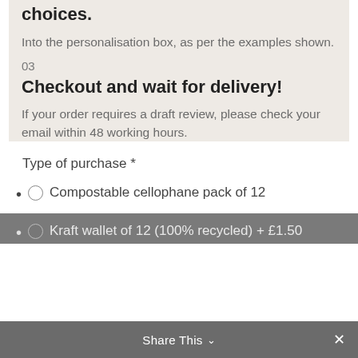choices.
Into the personalisation box, as per the examples shown.
03
Checkout and wait for delivery!
If your order requires a draft review, please check your email within 48 working hours.
Type of purchase *
Compostable cellophane pack of 12
Kraft wallet of 12 (100% recycled) + £1.50
Share This ×